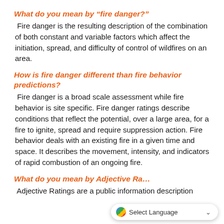What do you mean by “fire danger?”
Fire danger is the resulting description of the combination of both constant and variable factors which affect the initiation, spread, and difficulty of control of wildfires on an area.
How is fire danger different than fire behavior predictions?
Fire danger is a broad scale assessment while fire behavior is site specific. Fire danger ratings describe conditions that reflect the potential, over a large area, for a fire to ignite, spread and require suppression action. Fire behavior deals with an existing fire in a given time and space. It describes the movement, intensity, and indicators of rapid combustion of an ongoing fire.
What do you mean by Adjective Ra…
Adjective Ratings are a public information description